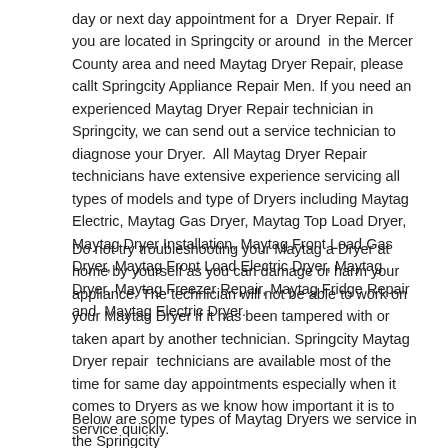day or next day appointment for a Dryer Repair. If you are located in Springcity or around in the Mercer County area and need Maytag Dryer Repair, please callt Springcity Appliance Repair Men. If you need an experienced Maytag Dryer Repair technician in Springcity, we can send out a service technician to diagnose your Dryer. All Maytag Dryer Repair technicians have extensive experience servicing all types of models and type of Dryers including Maytag Electric, Maytag Gas Dryer, Maytag Top Load Dryer, Maytag Dryer Installation, Maytag Front Load Gas Dryer, Maytag Front Load Electric Dryer, Maytag Dryer, Maytag Freezer Repair, Maytag Fridge Repair and Maytag Electric Dryer.
Do not try troubleshooting your Maytag a Dryer at home by yourself as you can damage or harm your appliance. The technician will not be able to work on your Maytag Dryer if it has been tampered with or taken apart by another technician. Springcity Maytag Dryer repair technicians are available most of the time for same day appointments especially when it comes to Dryers as we know how important it is to service quickly.
Below are some types of Maytag Dryers we service in the Springcity